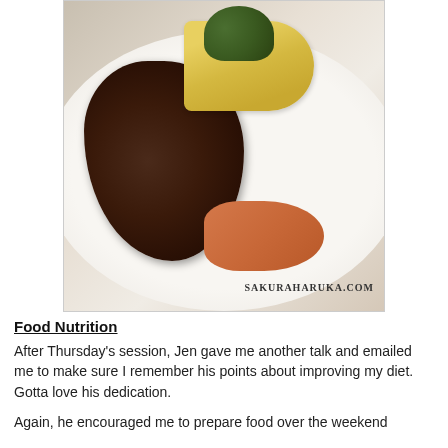[Figure (photo): A close-up photo of a meal on a white plate featuring a dark grilled meat/steak, baby corn, broccoli, and orange vegetables (carrots or pumpkin). Watermark reads SAKURAHARUKA.COM in the lower right corner.]
Food Nutrition
After Thursday's session, Jen gave me another talk and emailed me to make sure I remember his points about improving my diet. Gotta love his dedication.
Again, he encouraged me to prepare food over the weekend